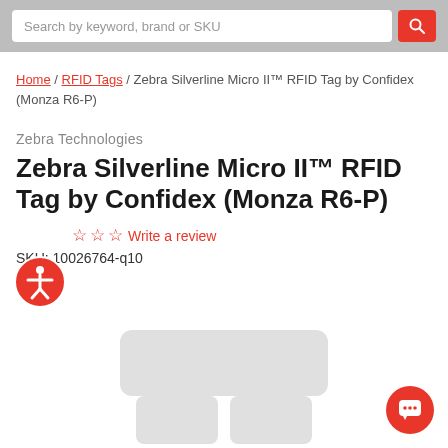Search by keyword, brand or SKU
Home / RFID Tags / Zebra Silverline Micro II™ RFID Tag by Confidex (Monza R6-P)
Zebra Technologies
Zebra Silverline Micro II™ RFID Tag by Confidex (Monza R6-P)
☆ ☆ ☆ Write a review
SKU: 10026764-q10
[Figure (illustration): RFID tag product image showing a rectangular tag shape with two antenna lobes at the bottom, rendered in light gray]